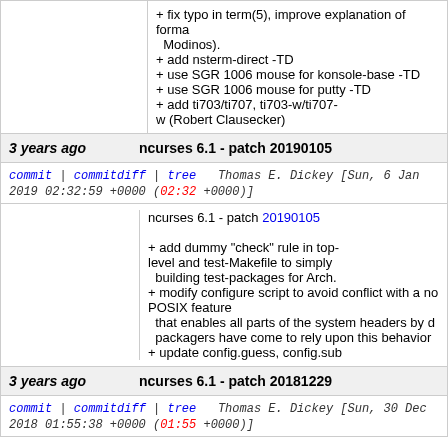+ fix typo in term(5), improve explanation of forma Modinos).
+ add nsterm-direct -TD
+ use SGR 1006 mouse for konsole-base -TD
+ use SGR 1006 mouse for putty -TD
+ add ti703/ti707, ti703-w/ti707-w (Robert Clausecker)
3 years ago   ncurses 6.1 - patch 20190105
commit | commitdiff | tree   Thomas E. Dickey [Sun, 6 Jan 2019 02:32:59 +0000 (02:32 +0000)]
ncurses 6.1 - patch 20190105
+ add dummy "check" rule in top-level and test-Makefile to simply building test-packages for Arch.
+ modify configure script to avoid conflict with a new POSIX feature that enables all parts of the system headers by d packagers have come to rely upon this behavior
+ update config.guess, config.sub
3 years ago   ncurses 6.1 - patch 20181229
commit | commitdiff | tree   Thomas E. Dickey [Sun, 30 Dec 2018 01:55:38 +0000 (01:55 +0000)]